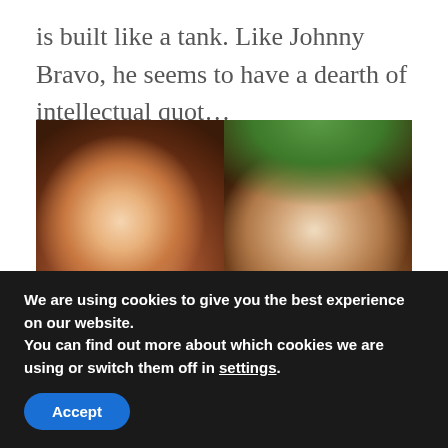is built like a tank. Like Johnny Bravo, he seems to have a dearth of intellectual quot…
[Figure (photo): Two side-by-side photos: on the left, a smiling woman with long highlighted hair wearing a red top; on the right, a bearded man wearing a grey cap looking upward, with green foliage in the background.]
We are using cookies to give you the best experience on our website.
You can find out more about which cookies we are using or switch them off in settings.